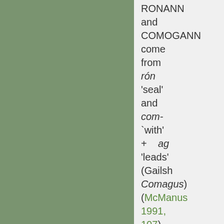RONANN and COMOGANN come from rón 'seal' and com- `with' + ag 'leads' (Gailsh Comagus) (McManus 1991, 107) and both ending